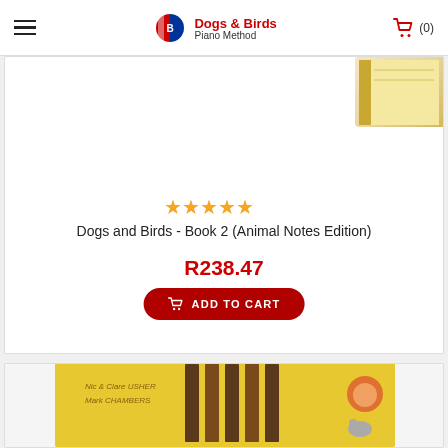Dogs & Birds Piano Method — Navigation bar with hamburger menu, logo, and cart (0)
[Figure (screenshot): Five gold star rating icons displayed horizontally]
Dogs and Birds - Book 2 (Animal Notes Edition)
R238.47
ADD TO CART
[Figure (photo): Partial view of Dogs and Birds piano method book with yellow cover, showing authors Nic & Clare USHER and Mark CHAMBERS, with cartoon cat character]